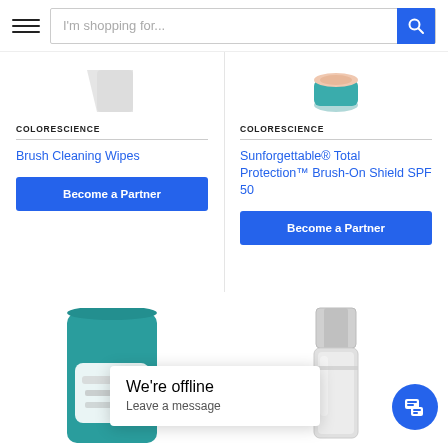I'm shopping for...
COLORESCIENCE
Brush Cleaning Wipes
Become a Partner
COLORESCIENCE
Sunforgettable® Total Protection™ Brush-On Shield SPF 50
Become a Partner
[Figure (photo): Product image - Hydrating Cleansing Cloths teal packaging]
[Figure (photo): Product image - silver pump bottle]
We're offline
Leave a message